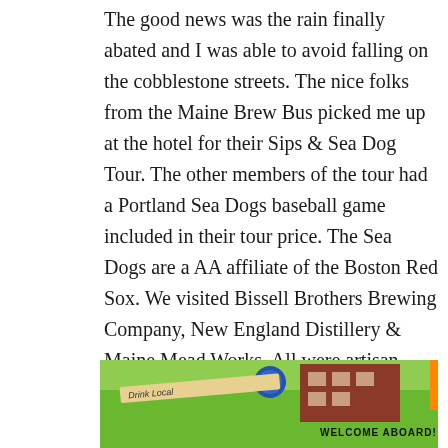The good news was the rain finally abated and I was able to avoid falling on the cobblestone streets. The nice folks from the Maine Brew Bus picked me up at the hotel for their Sips & Sea Dog Tour. The other members of the tour had a Portland Sea Dogs baseball game included in their tour price. The Sea Dogs are a AA affiliate of the Boston Red Sox. We visited Bissell Brothers Brewing Company, New England Distillery & Maine Mead Works. All were artisan companies producing small quantities of very high quality products. How nice of them to also drop me off at the transportation center where I caught my bus to Boston.
[Figure (photo): Bottom portion of a green bus or vehicle with text 'WELCOME ABOARD!' visible, a red brick building in the background, and a blue circular logo. A diagonal sign reading 'Drink Local' is partially visible.]